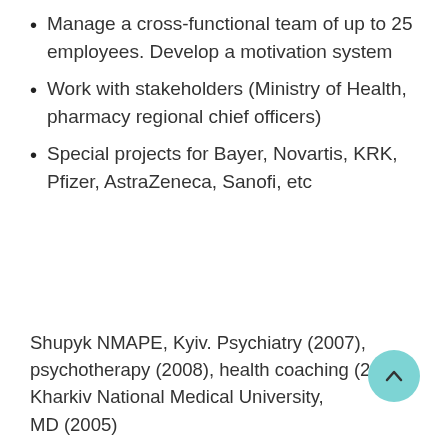Manage a cross-functional team of up to 25 employees. Develop a motivation system
Work with stakeholders (Ministry of Health, pharmacy regional chief officers)
Special projects for Bayer, Novartis, KRK, Pfizer, AstraZeneca, Sanofi, etc
Shupyk NMAPE, Kyiv. Psychiatry (2007), psychotherapy (2008), health coaching (2010)
Kharkiv National Medical University, MD (2005)